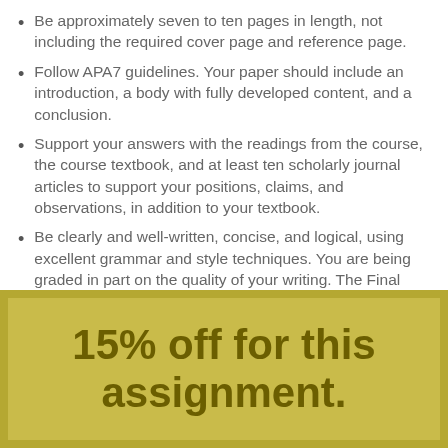Be approximately seven to ten pages in length, not including the required cover page and reference page.
Follow APA7 guidelines. Your paper should include an introduction, a body with fully developed content, and a conclusion.
Support your answers with the readings from the course, the course textbook, and at least ten scholarly journal articles to support your positions, claims, and observations, in addition to your textbook.
Be clearly and well-written, concise, and logical, using excellent grammar and style techniques. You are being graded in part on the quality of your writing. The Final Portfolio Project Paper.
15% off for this assignment.